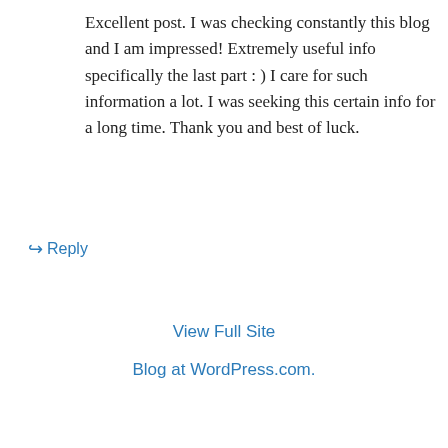Excellent post. I was checking constantly this blog and I am impressed! Extremely useful info specifically the last part : ) I care for such information a lot. I was seeking this certain info for a long time. Thank you and best of luck.
↳ Reply
View Full Site
Blog at WordPress.com.